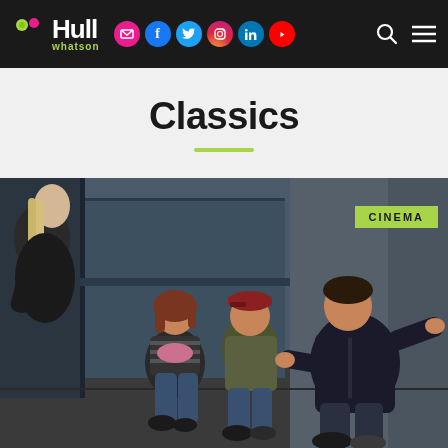Hull whatson - navigation header with logo and social media icons
Classics
[Figure (photo): A movie still showing a group of young people crouching and sitting on the floor of a dimly lit corridor or hallway. A person on the left leans forward wearing dark clothing. Three others including a child in striped clothing sit or crouch against a blue-grey wall. A label 'CINEMA' appears in a yellow-green badge at top right.]